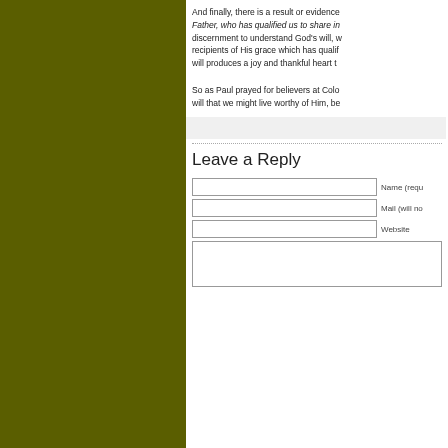And finally, there is a result or evidence... Father, who has qualified us to share in... discernment to understand God's will, we become recipients of His grace which has qualified... will produces a joy and thankful heart th...
So as Paul prayed for believers at Colo... will that we might live worthy of Him, be...
Leave a Reply